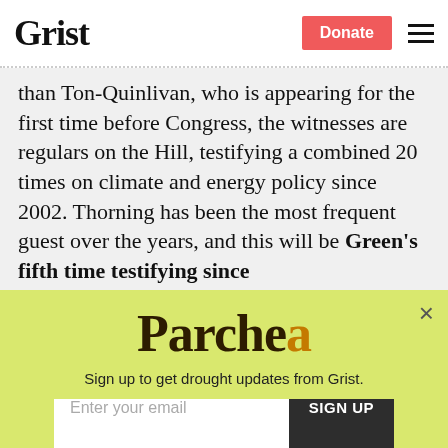Grist | Donate
than Ton-Quinlivan, who is appearing for the first time before Congress, the witnesses are regulars on the Hill, testifying a combined 20 times on climate and energy policy since 2002. Thorning has been the most frequent guest over the years, and this will be Green's fifth time testifying since
[Figure (other): Parched newsletter signup modal with yellow-green background, Parched logo, subtitle 'Sign up to get drought updates from Grist.', email input field, SIGN UP button, and No thanks link]
Sign up to get drought updates from Grist.
Enter your email
SIGN UP
No thanks